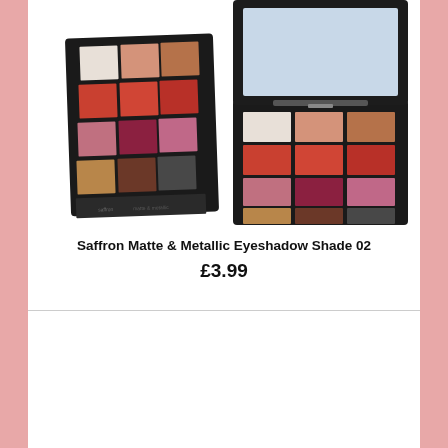[Figure (photo): Two eyeshadow palettes showing 12-color Saffron Matte & Metallic Eyeshadow Shade 02 — one closed flat view (left) and one open showing mirror and color swatches (right). Colors include white, peach, copper, coral-red, brick-red, orange-red, pink-shimmer, burgundy, rose-pink, bronze-gold, brown, and charcoal.]
Saffron Matte & Metallic Eyeshadow Shade 02
£3.99
[Figure (photo): Bottom portion of a compact eyeshadow product, partially visible, showing a black case with mirror.]